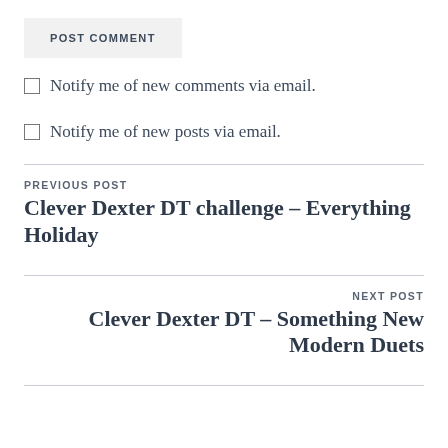POST COMMENT
Notify me of new comments via email.
Notify me of new posts via email.
PREVIOUS POST
Clever Dexter DT challenge – Everything Holiday
NEXT POST
Clever Dexter DT – Something New Modern Duets